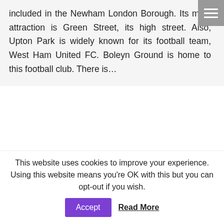included in the Newham London Borough. Its main attraction is Green Street, its high street. Also, Upton Park is widely known for its football team, West Ham United FC. Boleyn Ground is home to this football club. There is...
Transfer from East Ham (E6) to Stansted Airport
East Ham E6, Uncategorized • By 247Airport Transfer • January 18, 2013
This website uses cookies to improve your experience. Using this website means you're OK with this but you can opt-out if you wish.